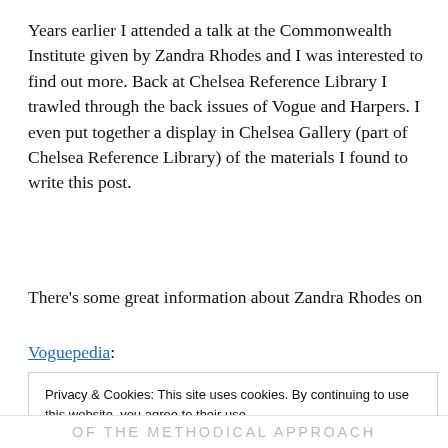Years earlier I attended a talk at the Commonwealth Institute given by Zandra Rhodes and I was interested to find out more. Back at Chelsea Reference Library I trawled through the back issues of Vogue and Harpers. I even put together a display in Chelsea Gallery (part of Chelsea Reference Library) of the materials I found to write this post.
There's some great information about Zandra Rhodes on Voguepedia:
Privacy & Cookies: This site uses cookies. By continuing to use this website, you agree to their use.
To find out more, including how to control cookies, see here: Cookie Policy

Close and accept
OF THE METHODICAL APPROACH